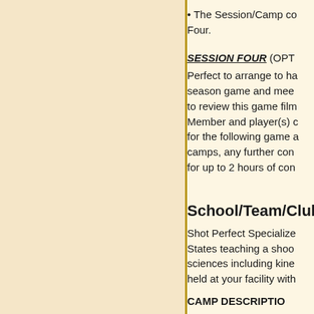• The Session/Camp co Four.
SESSION FOUR (OPT
Perfect to arrange to ha season game and mee to review this game film Member and player(s) c for the following game a camps, any further con for up to 2 hours of con
School/Team/Club
Shot Perfect Specialize States teaching a shoo sciences including kine held at your facility with
CAMP DESCRIPTIO